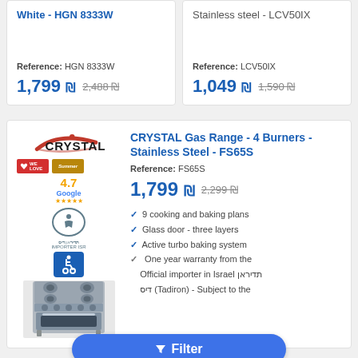White - HGN 8333W
Stainless steel - LCV50IX
Reference: HGN 8333W
1,799 ₪  2,488 ₪
Reference: LCV50IX
1,049 ₪  1,590 ₪
[Figure (screenshot): CRYSTAL Gas Range product listing with logo, product image, badges, Google rating 4.7, accessibility icons]
CRYSTAL Gas Range - 4 Burners - Stainless Steel - FS65S
Reference: FS65S
1,799 ₪  2,299 ₪
9 cooking and baking plans
Glass door - three layers
Active turbo baking system
One year warranty from the Official importer in Israel תדיראן דיס (Tadiron) - Subject to the
Filter
to x24 without
Official